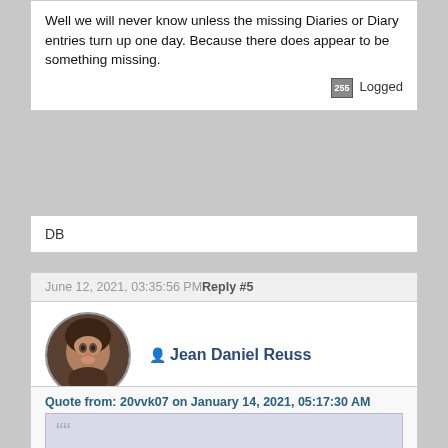Well we will never know unless the missing Diaries or Diary entries turn up one day. Because there does appear to be something missing.
Logged
DB
June 12, 2021, 03:35:56 PM Reply #5
Jean Daniel Reuss
Re: The refutation of only one thing that destroys the theory of a quarrel!
Quote from: 20vvk07 on January 14, 2021, 05:17:30 AM
...................................
What is CLEAR FOR ME PERSONALLY:
1. No one in the group belittled anyone, we just looked at it from a different angle.
2. The relationship in the group was good.